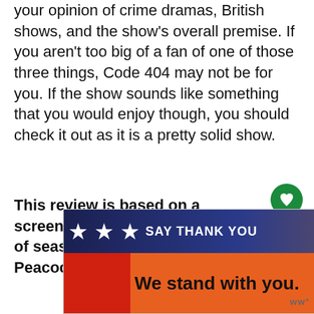your opinion of crime dramas, British shows, and the show's overall premise. If you aren't too big of a fan of one of those three things, Code 404 may not be for you. If the show sounds like something that you would enjoy though, you should check it out as it is a pretty solid show.
This review is based on a screener of all six episodes of season one provided by Peacock.
[Figure (screenshot): Advertisement banner with stars graphic and text 'SAY THANK YOU' and 'We stand with you.' on orange/red/pink background]